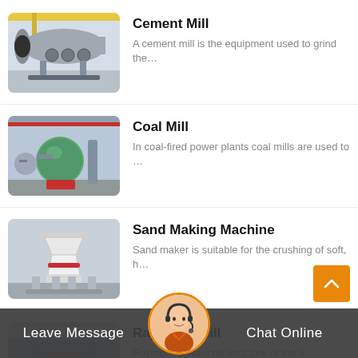[Figure (photo): Cement mill industrial equipment - large horizontal cylindrical grinder in a facility]
Cement Mill
A cement mill is the equipment used to grind the…
[Figure (photo): Coal mill industrial equipment in a large factory hall with red crane overhead]
Coal Mill
In coal-fired power plants coal mills are used to …
[Figure (photo): Sand making machine - white crushing equipment in industrial setting]
Sand Making Machine
Sand maker is suitable for the crushing of soft, h…
[Figure (photo): Raymond mill equipment partially visible]
Raymond Mill
Raymo… advanced structure of the s…
Leave Message
Chat Online